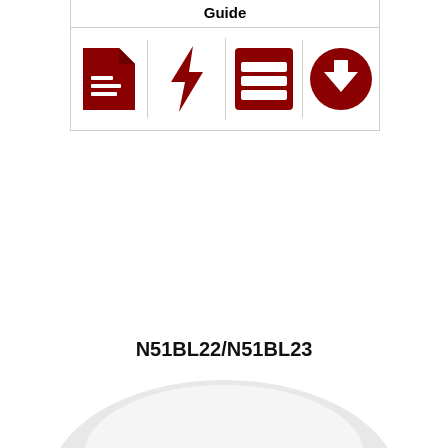Guide
[Figure (infographic): Four red icons in a row: document/file icon, lightning bolt/quick-start icon, manual/book icon, download arrow icon]
N51BL22/N51BL23
[Figure (photo): Dahua dome security camera, white housing with dark dome lens, viewed from slightly above, showing the Dahua logo on the camera body]